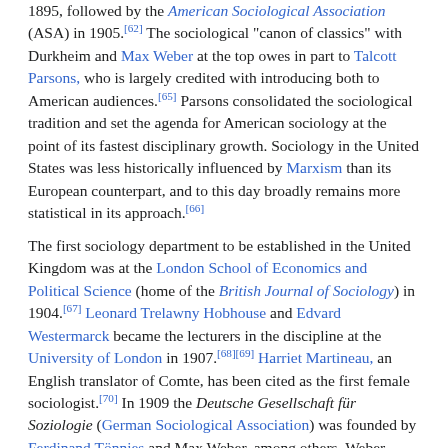1895, followed by the American Sociological Association (ASA) in 1905.[62] The sociological "canon of classics" with Durkheim and Max Weber at the top owes in part to Talcott Parsons, who is largely credited with introducing both to American audiences.[65] Parsons consolidated the sociological tradition and set the agenda for American sociology at the point of its fastest disciplinary growth. Sociology in the United States was less historically influenced by Marxism than its European counterpart, and to this day broadly remains more statistical in its approach.[66]
The first sociology department to be established in the United Kingdom was at the London School of Economics and Political Science (home of the British Journal of Sociology) in 1904.[67] Leonard Trelawny Hobhouse and Edvard Westermarck became the lecturers in the discipline at the University of London in 1907.[68][69] Harriet Martineau, an English translator of Comte, has been cited as the first female sociologist.[70] In 1909 the Deutsche Gesellschaft für Soziologie (German Sociological Association) was founded by Ferdinand Tönnies and Max Weber, among others. Weber established the first department in Germany at the Ludwig Maximilian University of Munich in 1919, having presented an